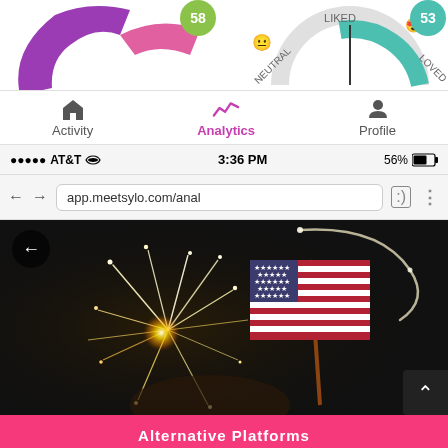[Figure (screenshot): Partial screenshot showing top of analytics gauge/donut chart with green segment showing '58', teal segment showing '53', labels LIKED, LOVED, NEUTRAL visible]
[Figure (screenshot): Mobile app navigation bar with Activity, Analytics (active/pink), and Profile tabs]
[Figure (screenshot): iPhone status bar showing AT&T signal, 3:36 PM time, 56% battery]
[Figure (screenshot): Mobile browser address bar showing app.meetsylo.com/anal... with back/forward arrows and icons]
[Figure (photo): Person holding a sparkler and American flag in dark background - patriotic Fourth of July image]
Alternative Platforms